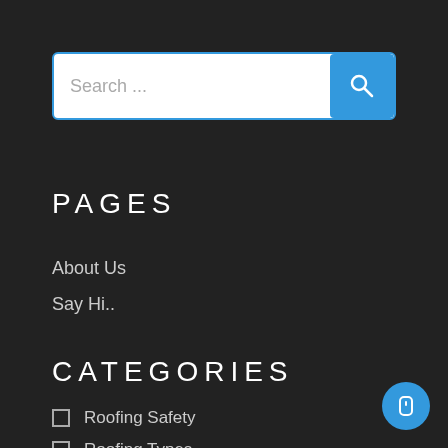[Figure (screenshot): Search bar with white background, placeholder text 'Search ...' and a blue search button with magnifying glass icon on the right]
PAGES
About Us
Say Hi..
CATEGORIES
Roofing Safety
Roofing Types